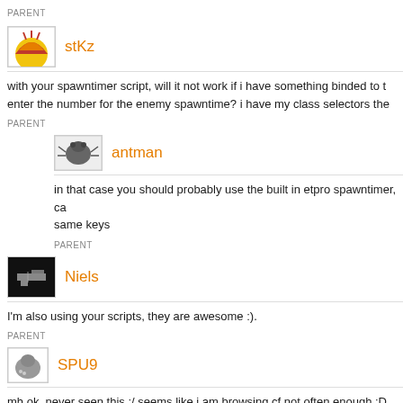PARENT
stKz
with your spawntimer script, will it not work if i have something binded to the enter the number for the enemy spawntime? i have my class selectors the
PARENT
antman
in that case you should probably use the built in etpro spawntimer, ca same keys
PARENT
Niels
I'm also using your scripts, they are awesome :).
PARENT
SPU9
mh ok, never seen this ;/ seems like i am browsing cf not often enough ;D neve it just due to the new tutorial or our conversation ;)
PARENT